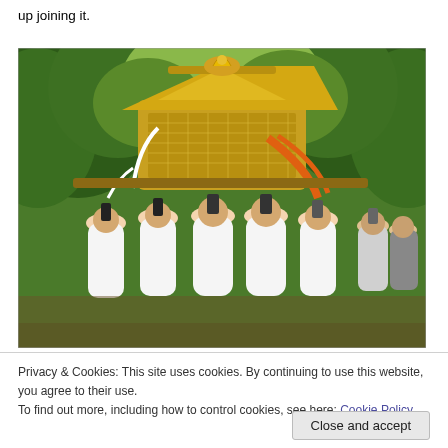up joining it.
[Figure (photo): Japanese Shinto festival procession: several men dressed in white robes carrying a large ornate golden mikoshi (portable shrine) with a golden phoenix on top through a tree-lined path. Additional people visible in the background.]
Privacy & Cookies: This site uses cookies. By continuing to use this website, you agree to their use.
To find out more, including how to control cookies, see here: Cookie Policy
Close and accept